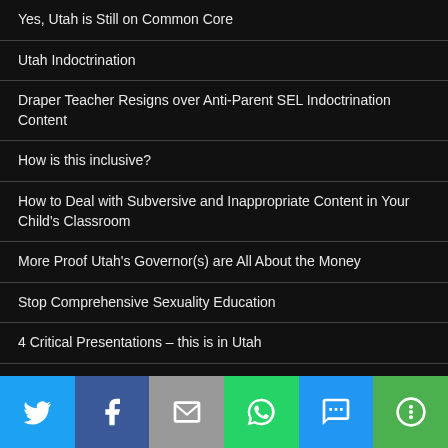Yes, Utah is Still on Common Core
Utah Indoctrination
Draper Teacher Resigns over Anti-Parent SEL Indoctrination Content
How is this inclusive?
How to Deal with Subversive and Inappropriate Content in Your Child's Classroom
More Proof Utah's Governor(s) are All About the Money
Stop Comprehensive Sexuality Education
4 Critical Presentations – this is in Utah
The New Content Opt-Out Form
How To Clean Up the Common Core Mess
Now a word from our Sponsor: Karl Marx